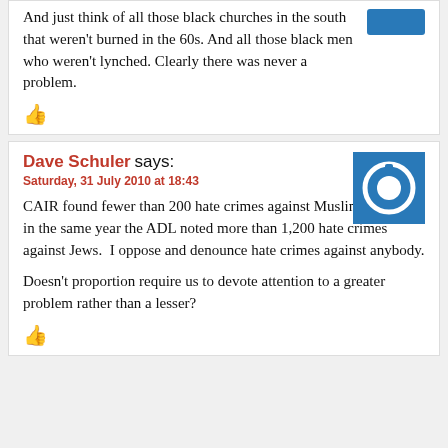And just think of all those black churches in the south that weren't burned in the 60s. And all those black men who weren't lynched. Clearly there was never a problem.
👍
Dave Schuler says: Saturday, 31 July 2010 at 18:43
CAIR found fewer than 200 hate crimes against Muslims in 2009; in the same year the ADL noted more than 1,200 hate crimes against Jews.  I oppose and denounce hate crimes against anybody.
Doesn't proportion require us to devote attention to a greater problem rather than a lesser?
👍